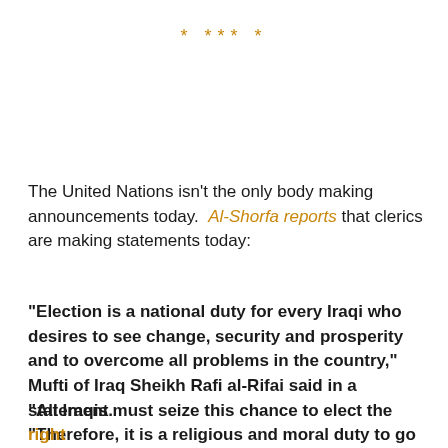* *** *
The United Nations isn't the only body making announcements today.  Al-Shorfa reports that clerics are making statements today:
"Election is a national duty for every Iraqi who desires to see change, security and prosperity and to overcome all problems in the country," Mufti of Iraq Sheikh Rafi al-Rifai said in a statement.
"Therefore, it is a religious and moral duty to go to the ballot boxes and use the chance as a civilised way to change and express opinion," he said.
Grand Ayatollah Ali al-Sistani also called on Iraqis to take part in the elections.
"All Iraqis must seize this chance to elect the right